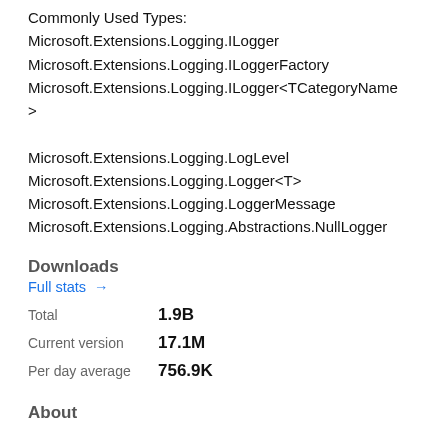Commonly Used Types:
Microsoft.Extensions.Logging.ILogger
Microsoft.Extensions.Logging.ILoggerFactory
Microsoft.Extensions.Logging.ILogger<TCategoryName>
Microsoft.Extensions.Logging.LogLevel
Microsoft.Extensions.Logging.Logger<T>
Microsoft.Extensions.Logging.LoggerMessage
Microsoft.Extensions.Logging.Abstractions.NullLogger
Downloads
Full stats →
Total    1.9B
Current version    17.1M
Per day average    756.9K
About